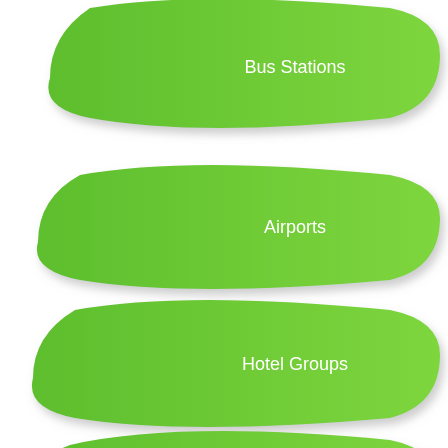[Figure (infographic): Four green leaf-shaped banners stacked vertically, each containing white text labels: Bus Stations, Airports, Hotel Groups, Property Companies]
Bus Stations
Airports
Hotel Groups
Property Companies